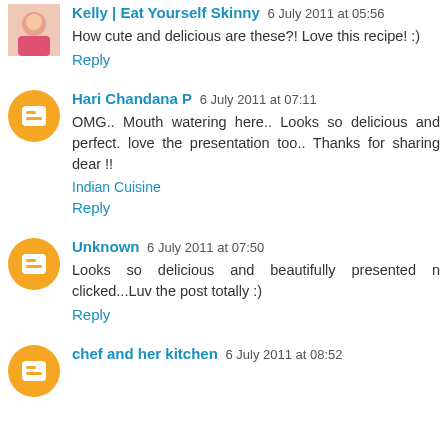Kelly | Eat Yourself Skinny 6 July 2011 at 05:56
How cute and delicious are these?! Love this recipe! :)
Reply
Hari Chandana P 6 July 2011 at 07:11
OMG.. Mouth watering here.. Looks so delicious and perfect. love the presentation too.. Thanks for sharing dear !!
Indian Cuisine
Reply
Unknown 6 July 2011 at 07:50
Looks so delicious and beautifully presented n clicked...Luv the post totally :)
Reply
chef and her kitchen 6 July 2011 at 08:52